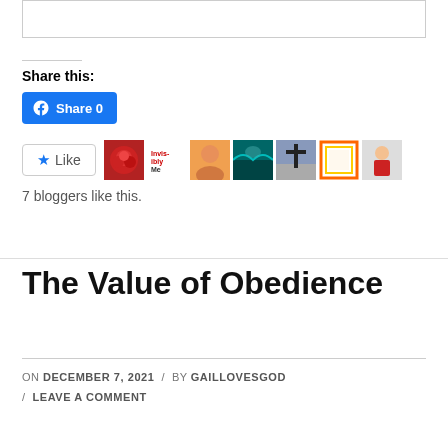[Figure (other): Empty text input box at top of page]
Share this:
[Figure (other): Facebook Share button with share count 0]
[Figure (other): Like button with star icon followed by avatar images of 7 bloggers]
7 bloggers like this.
The Value of Obedience
ON DECEMBER 7, 2021 / BY GAILLOVESGOD / LEAVE A COMMENT